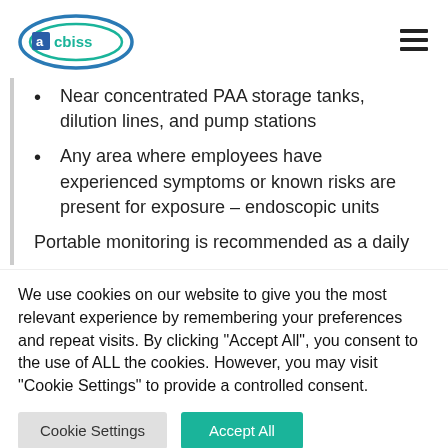acbiss logo and navigation menu
Near concentrated PAA storage tanks, dilution lines, and pump stations
Any area where employees have experienced symptoms or known risks are present for exposure – endoscopic units
Portable monitoring is recommended as a daily
We use cookies on our website to give you the most relevant experience by remembering your preferences and repeat visits. By clicking "Accept All", you consent to the use of ALL the cookies. However, you may visit "Cookie Settings" to provide a controlled consent.